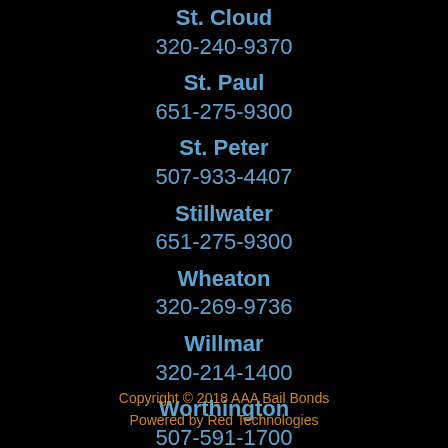St. Cloud
320-240-9370
St. Paul
651-275-9300
St. Peter
507-933-4407
Stillwater
651-275-9300
Wheaton
320-269-9736
Willmar
320-214-1400
Worthington
507-591-1700
Copyright © 2018 AAA Bail Bonds
Powered by Red Technologies